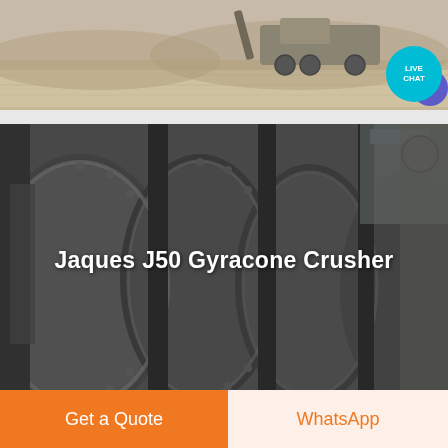[Figure (photo): Top portion of a quarry/mining site photo showing heavy vehicle on dirt/gravel ground with a 'LIVE CHAT' overlay bubble in teal and purple in the bottom right corner]
[Figure (photo): Industrial photo of a Jaques J50 Gyracone Crusher showing large steel cone crusher components up close, with white text overlay reading 'Jaques J50 Gyracone Crusher']
Jaques J50 Gyracone Crusher
Get a Quote
WhatsApp